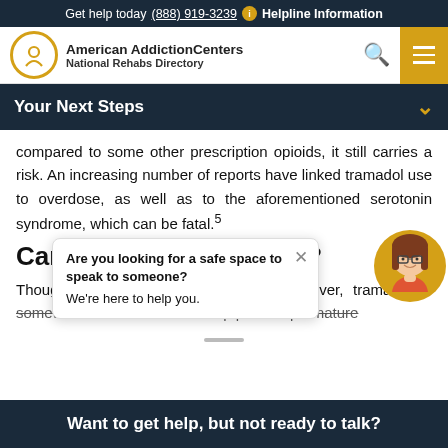Get help today (888) 919-3239  i  Helpline Information
[Figure (logo): American Addiction Centers National Rehabs Directory logo with circular icon and search/menu buttons]
Your Next Steps
compared to some other prescription opioids, it still carries a risk. An increasing number of reports have linked tramadol use to overdose, as well as to the aforementioned serotonin syndrome, which can be fatal.5
[Figure (illustration): Chat popup overlay: 'Are you looking for a safe space to speak to someone? We're here to help you.' with close X button and female avatar illustration.]
Can It In...tioning?
Though it was developed as a pain reliever, tramadol is sometimes used off-label to help prevent premature
Want to get help, but not ready to talk?